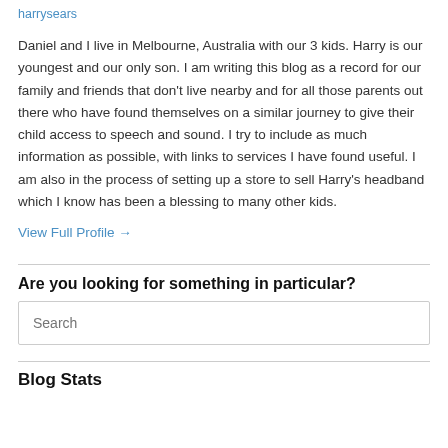harrysears
Daniel and I live in Melbourne, Australia with our 3 kids. Harry is our youngest and our only son. I am writing this blog as a record for our family and friends that don't live nearby and for all those parents out there who have found themselves on a similar journey to give their child access to speech and sound. I try to include as much information as possible, with links to services I have found useful. I am also in the process of setting up a store to sell Harry's headband which I know has been a blessing to many other kids.
View Full Profile →
Are you looking for something in particular?
Search
Blog Stats